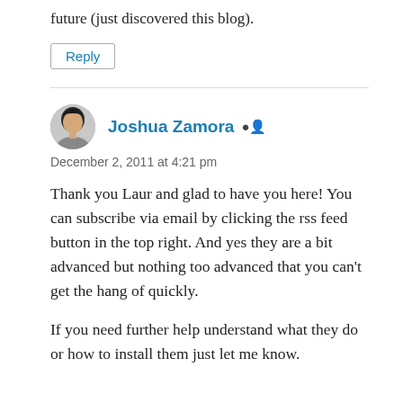future (just discovered this blog).
Reply
Joshua Zamora
December 2, 2011 at 4:21 pm
Thank you Laur and glad to have you here! You can subscribe via email by clicking the rss feed button in the top right. And yes they are a bit advanced but nothing too advanced that you can’t get the hang of quickly.
If you need further help understand what they do or how to install them just let me know.